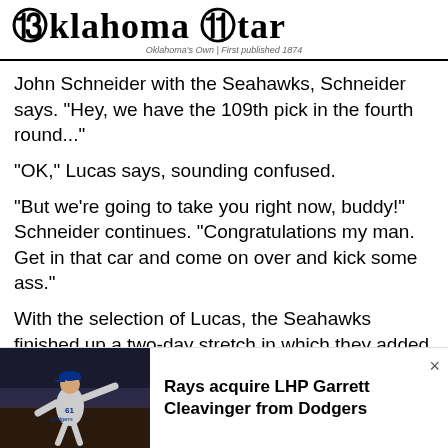Oklahoma Star — Oklahoma's Own | First published 1874
John Schneider with the Seahawks, Schneider says. "Hey, we have the 109th pick in the fourth round..."
"OK," Lucas says, sounding confused.
"But we're going to take you right now, buddy!" Schneider continues. "Congratulations my man. Get in that car and come on over and kick some ass."
With the selection of Lucas, the Seahawks finished up a two-day stretch in which they added four players they're expecting to be big parts of their future.
[Figure (photo): Baseball pitcher in Dodgers uniform mid-throw]
Rays acquire LHP Garrett Cleavinger from Dodgers